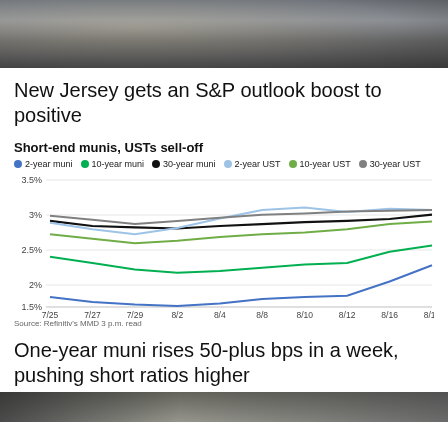[Figure (photo): Photo of a person in a suit at top of page]
New Jersey gets an S&P outlook boost to positive
Short-end munis, USTs sell-off
[Figure (line-chart): Short-end munis, USTs sell-off]
Source: Refinitiv's MMD 3 p.m. read
One-year muni rises 50-plus bps in a week, pushing short ratios higher
[Figure (photo): Photo at bottom of page]